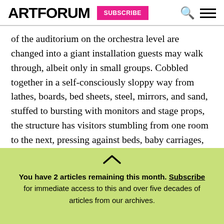ARTFORUM SUBSCRIBE
of the auditorium on the orchestra level are changed into a giant installation guests may walk through, albeit only in small groups. Cobbled together in a self-consciously sloppy way from lathes, boards, bed sheets, steel, mirrors, and sand, stuffed to bursting with monitors and stage props, the structure has visitors stumbling from one room to the next, pressing against beds, baby carriages, shelves full of rabbits, and a giant mask (said to be Beuys's death
You have 2 articles remaining this month. Subscribe for immediate access to this and over five decades of articles from our archives.